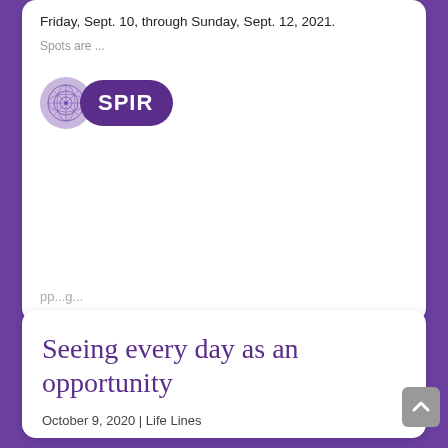Friday, Sept. 10, through Sunday, Sept. 12, 2021.
Spots are ...
[Figure (logo): INSPIRE logo with decorative circle and purple pill-shaped badge showing 'SPIR']
Seeing every day as an opportunity
October 9, 2020 | Life Lines
When I arrived at Pyramid Life Center in the Adirondack Mountains last month to lead a retreat, I was excited but nervous. As is always the case when I lead a ...
Read More